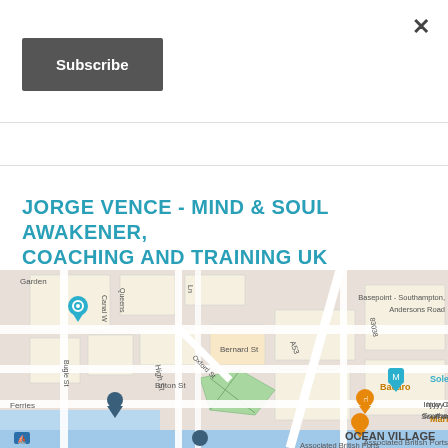×
Subscribe
JORGE VENCE - MIND & SOUL AWAKENER, COACHING AND TRAINING UK
[Figure (map): Google Maps screenshot showing Southampton area including Bernard St, Oxford St, Queens, Canal W, Bugle St, High St, Briton St, Basepoint - Southampton Andersons Road, Solent Sky museum, Injoy Centre Southampton, Ocean Village, Associated British Ports, Bacaro restaurant, Maritimo L, Ferries location markers]